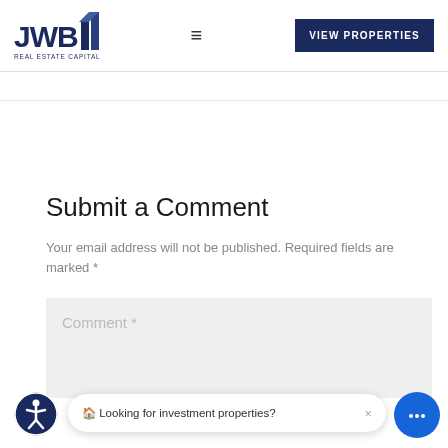JWB Real Estate Capital — VIEW PROPERTIES
Submit a Comment
Your email address will not be published. Required fields are marked *
Comment *
🏠 Looking for investment properties? ×